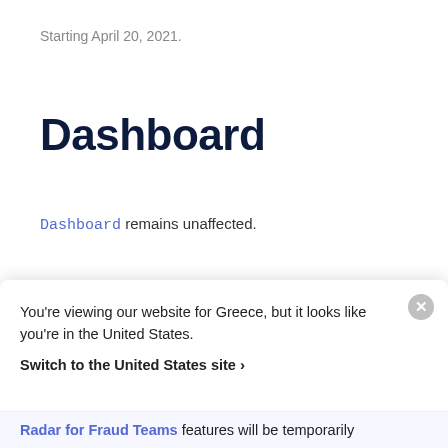Starting April 20, 2021.
Dashboard
Dashboard remains unaffected.
Radar
You're viewing our website for Greece, but it looks like you're in the United States.
Switch to the United States site >
Radar for Fraud Teams features will be temporarily